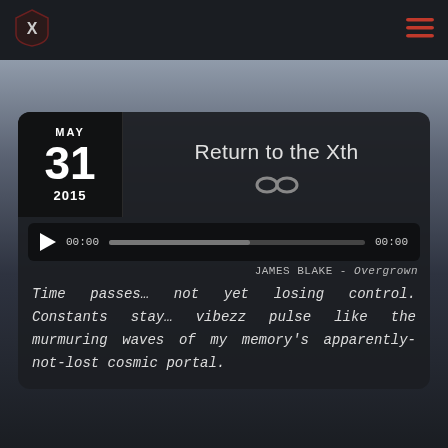[Figure (logo): Shield logo with X emblem, dark red/maroon]
[Figure (other): Hamburger menu icon, three red horizontal lines]
MAY
31
2015
Return to the Xth
[Figure (other): Infinity symbol icon in gray]
[Figure (other): Audio player bar: play button, 00:00, progress bar, 00:00]
JAMES BLAKE - Overgrown
Time passes… not yet losing control. Constants stay… vibezz pulse like the murmuring waves of my memory's apparently-not-lost cosmic portal.